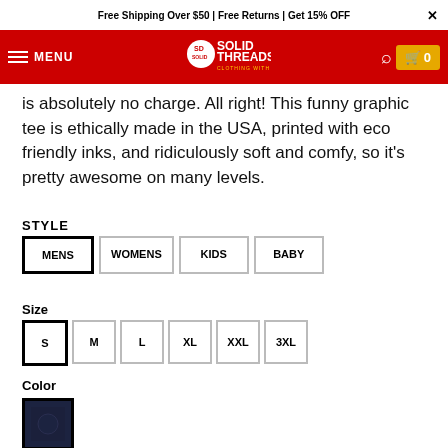Free Shipping Over $50 | Free Returns | Get 15% OFF
[Figure (logo): Solid Threads logo on red navigation bar with MENU, search and cart icons]
is absolutely no charge. All right! This funny graphic tee is ethically made in the USA, printed with eco friendly inks, and ridiculously soft and comfy, so it's pretty awesome on many levels.
STYLE
MENS (selected), WOMENS, KIDS, BABY
Size
S (selected), M, L, XL, XXL, 3XL
Color
[Figure (photo): Dark navy color swatch square]